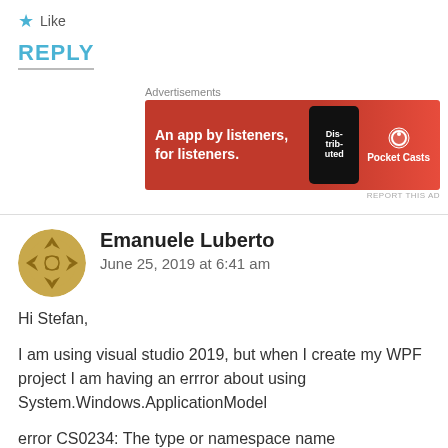★ Like
REPLY
[Figure (screenshot): Advertisement banner for Pocket Casts app: 'An app by listeners, for listeners.' with phone graphic on red background]
Emanuele Luberto
June 25, 2019 at 6:41 am
Hi Stefan,
I am using visual studio 2019, but when I create my WPF project I am having an errror about using System.Windows.ApplicationModel
error CS0234: The type or namespace name